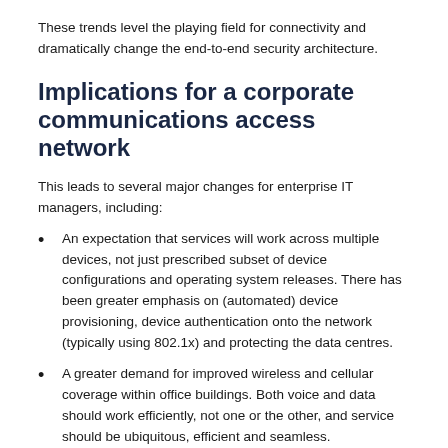These trends level the playing field for connectivity and dramatically change the end-to-end security architecture.
Implications for a corporate communications access network
This leads to several major changes for enterprise IT managers, including:
An expectation that services will work across multiple devices, not just prescribed subset of device configurations and operating system releases. There has been greater emphasis on (automated) device provisioning, device authentication onto the network (typically using 802.1x) and protecting the data centres.
A greater demand for improved wireless and cellular coverage within office buildings. Both voice and data should work efficiently, not one or the other, and service should be ubiquitous, efficient and seamless.
A changing view of what services can and should be filtered or blocked. Businesses don't want their